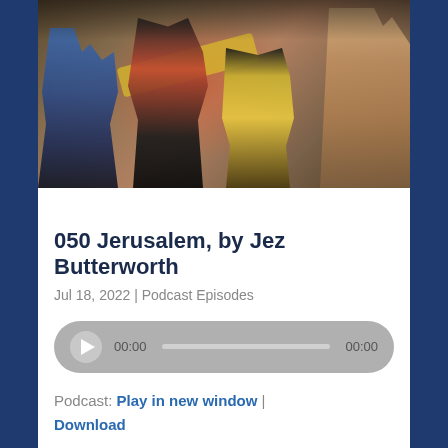[Figure (photo): Group of people in colorful costumes posing together, includes a man in red shirt with yellow sash, a woman in yellow top with dreadlocks, a woman in blue plaid skirt, and others against a rustic background]
050 Jerusalem, by Jez Butterworth
Jul 18, 2022 | Podcast Episodes
Podcast: Play in new window | Download
Follow the podcast Apple Podcasts | Google Podcasts | Spotify | Amazon Music | Android | Podcast Index | Stitcher